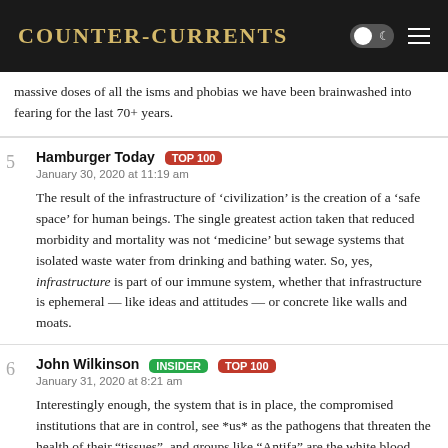Counter-Currents
massive doses of all the isms and phobias we have been brainwashed into fearing for the last 70+ years.
Hamburger Today TOP 100
January 30, 2020 at 11:19 am

The result of the infrastructure of ‘civilization’ is the creation of a ‘safe space’ for human beings. The single greatest action taken that reduced morbidity and mortality was not ‘medicine’ but sewage systems that isolated waste water from drinking and bathing water. So, yes, infrastructure is part of our immune system, whether that infrastructure is ephemeral — like ideas and attitudes — or concrete like walls and moats.
John Wilkinson INSIDER TOP 100
January 31, 2020 at 8:21 am

Interestingly enough, the system that is in place, the compromised institutions that are in control, see *us* as the pathogens that threaten the health of their “tissues”, and groups like “Antifa” are the white blood cells that are sent out to attack *us* while the actual